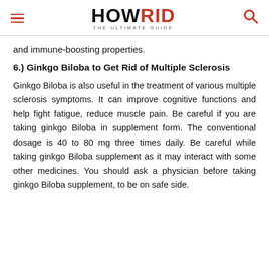HOWRID THE ULTIMATE GUIDE
and immune-boosting properties.
6.) Ginkgo Biloba to Get Rid of Multiple Sclerosis
Ginkgo Biloba is also useful in the treatment of various multiple sclerosis symptoms. It can improve cognitive functions and help fight fatigue, reduce muscle pain. Be careful if you are taking ginkgo Biloba in supplement form. The conventional dosage is 40 to 80 mg three times daily. Be careful while taking ginkgo Biloba supplement as it may interact with some other medicines. You should ask a physician before taking ginkgo Biloba supplement, to be on safe side.